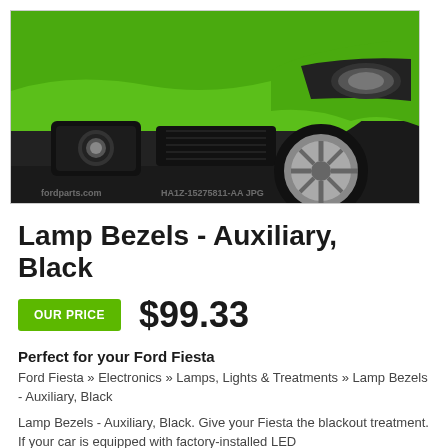[Figure (photo): Close-up photo of a green Ford Fiesta front bumper area showing headlights, fog lamp bezels, and a silver alloy wheel. Watermark text partially visible.]
Lamp Bezels - Auxiliary, Black
OUR PRICE  $99.33
Perfect for your Ford Fiesta
Ford Fiesta » Electronics » Lamps, Lights & Treatments » Lamp Bezels - Auxiliary, Black
Lamp Bezels - Auxiliary, Black. Give your Fiesta the blackout treatment. If your car is equipped with factory-installed LED